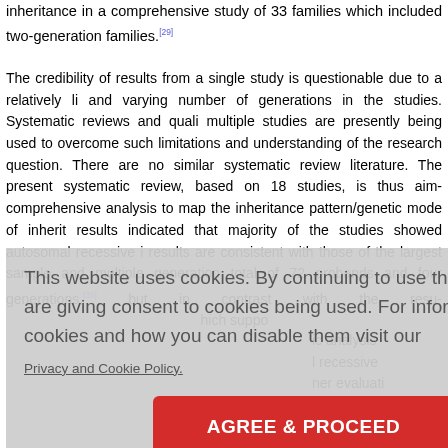inheritance in a comprehensive study of 33 families which included two-generation families.[29]
The credibility of results from a single study is questionable due to a relatively li... and varying number of generations in the studies. Systematic reviews and quali... multiple studies are presently being used to overcome such limitations and ... understanding of the research question. There are no similar systematic review... literature. The present systematic review, based on 18 studies, is thus aim... comprehensive analysis to map the inheritance pattern/genetic mode of inherit... results indicated that majority of the studies showed autosomal recessive i... results are consistent with those of the largest sample and multiple generation... total of 72 probands and four generations [35] but in contrast with the resu...
[Figure (screenshot): Cookie consent overlay with message 'This website uses cookies. By continuing to use this website you are giving consent to cookies being used. For information on cookies and how you can disable them visit our Privacy and Cookie Policy.' and a red 'AGREE & PROCEED' button.]
more concerned about their oral health, hence approached more for consultati...